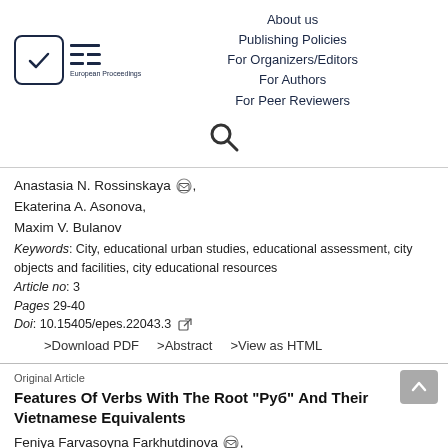[Figure (logo): European Proceedings logo with checkmark icon and EP text lines]
About us
Publishing Policies
For Organizers/Editors
For Authors
For Peer Reviewers
[Figure (other): Search icon (magnifying glass)]
Anastasia N. Rossinskaya [email], Ekaterina A. Asonova, Maxim V. Bulanov
Keywords: City, educational urban studies, educational assessment, city objects and facilities, city educational resources
Article no: 3
Pages 29-40
Doi: 10.15405/epes.22043.3
>Download PDF   >Abstract   >View as HTML
Original Article
Features Of Verbs With The Root "Руб" And Their Vietnamese Equivalents
Feniya Farvasoyna Farkhutdinova [email],